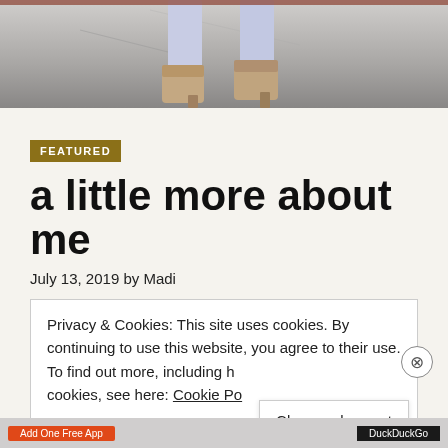[Figure (photo): Cropped photo showing a person's legs from the knee down, wearing light jeans and tan/beige ankle boots, standing on a concrete surface]
FEATURED
a little more about me
July 13, 2019 by Madi
Privacy & Cookies: This site uses cookies. By continuing to use this website, you agree to their use.
To find out more, including how to control cookies, see here: Cookie Policy
Close and accept